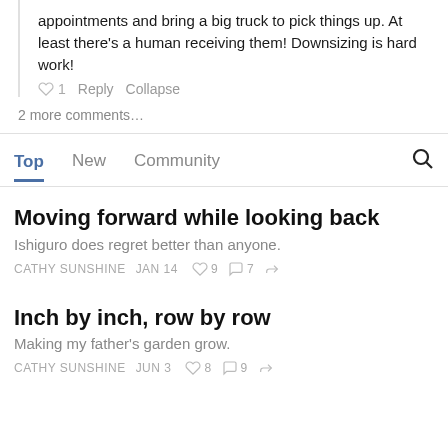appointments and bring a big truck to pick things up. At least there's a human receiving them! Downsizing is hard work!
♡ 1   Reply   Collapse
2 more comments…
Top   New   Community
Moving forward while looking back
Ishiguro does regret better than anyone.
CATHY SUNSHINE   JAN 14   ♡ 9   ⌀ 7
Inch by inch, row by row
Making my father's garden grow.
CATHY SUNSHINE   JUN 3   ♡ 8   ⌀ 9